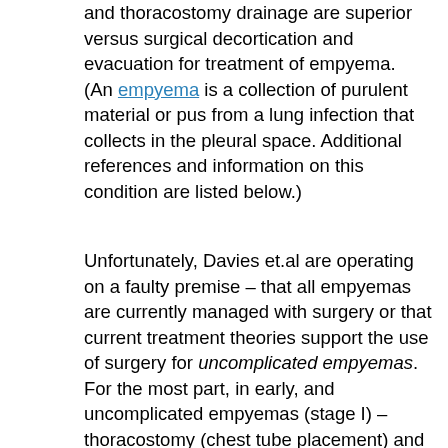and thoracostomy drainage are superior versus surgical decortication and evacuation for treatment of empyema. (An empyema is a collection of purulent material or pus from a lung infection that collects in the pleural space. Additional references and information on this condition are listed below.)
Unfortunately, Davies et.al are operating on a faulty premise – that all empyemas are currently managed with surgery or that current treatment theories support the use of surgery for uncomplicated empyemas. For the most part, in early, and uncomplicated empyemas (stage I) – thoracostomy (chest tube placement) and antibiotics are the most common first line treatments before...